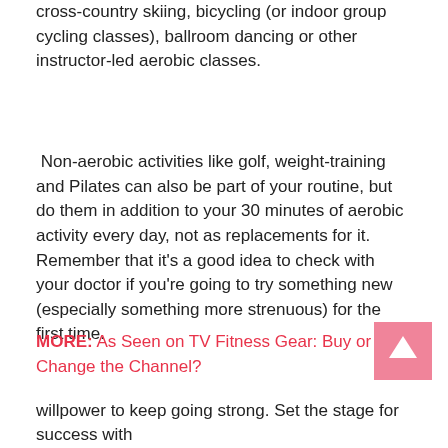cross-country skiing, bicycling (or indoor group cycling classes), ballroom dancing or other instructor-led aerobic classes.
Non-aerobic activities like golf, weight-training and Pilates can also be part of your routine, but do them in addition to your 30 minutes of aerobic activity every day, not as replacements for it. Remember that it's a good idea to check with your doctor if you're going to try something new (especially something more strenuous) for the first time.
MORE: As Seen on TV Fitness Gear: Buy or Change the Channel?
willpower to keep going strong. Set the stage for success with